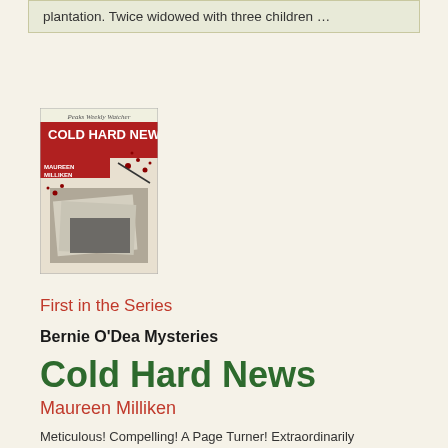plantation. Twice widowed with three children …
[Figure (photo): Book cover of 'Cold Hard News' by Maureen Milliken, showing newspaper with blood splatter, published by Peaks Weekly Watcher]
First in the Series
Bernie O'Dea Mysteries
Cold Hard News
Maureen Milliken
Meticulous! Compelling! A Page Turner! Extraordinarily Accomplished!